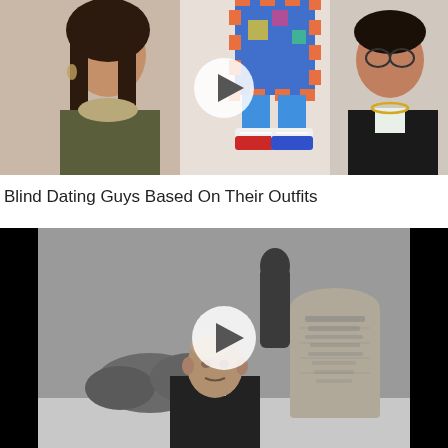[Figure (photo): Thumbnail for video 'Blind Dating Guys Based On Their Outfits'. Shows a woman on the left (dark hair, olive jacket), a person in colorful patterned shorts and sneakers in the center with a play button overlay, and a man in a black leather jacket on the right.]
Blind Dating Guys Based On Their Outfits
[Figure (screenshot): Thumbnail for a second video. Black and white scene showing a bald man in a dark suit standing in front of a gravestone/tombstone. A circular play button overlay is centered on the image.]